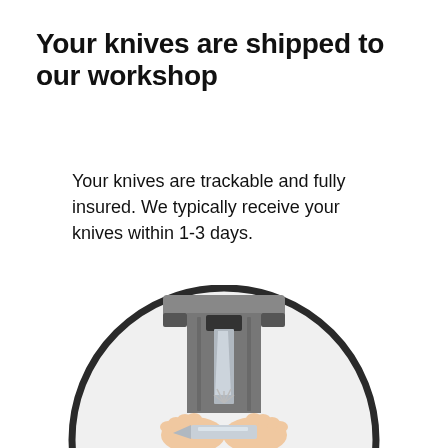Your knives are shipped to our workshop
Your knives are trackable and fully insured. We typically receive your knives within 1-3 days.
[Figure (illustration): Circular illustration showing a knife sharpening machine with a person's hands pressing a knife blade against a sharpening wheel, with sparks visible at the contact point.]